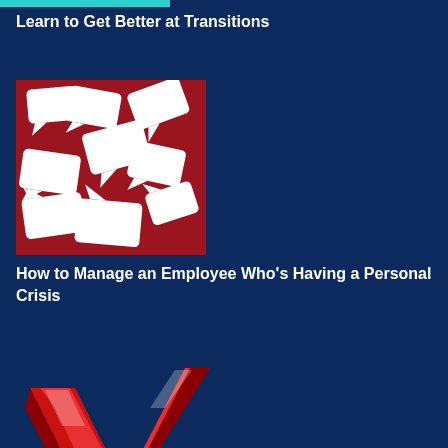Learn to Get Better at Transitions
[Figure (illustration): Red background with scattered white speech bubble shapes]
How to Manage an Employee Who's Having a Personal Crisis
[Figure (illustration): Large red glossy 3D checkmark letter V on dark blue background]